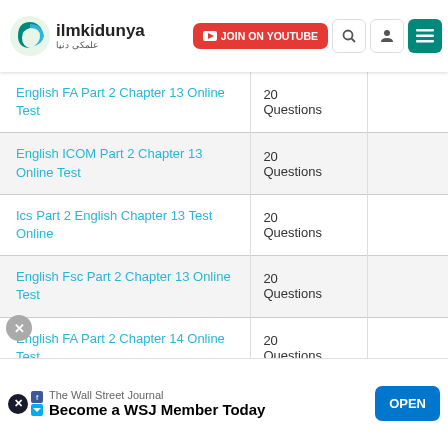[Figure (logo): ilmkidunya website logo with green crescent icon and Arabic text]
| Test Name | Questions |  |
| --- | --- | --- |
| English FA Part 2 Chapter 13 Online Test | 20 Questions |  |
| English ICOM Part 2 Chapter 13 Online Test | 20 Questions |  |
| Ics Part 2 English Chapter 13 Test Online | 20 Questions |  |
| English Fsc Part 2 Chapter 13 Online Test | 20 Questions |  |
| English FA Part 2 Chapter 14 Online Test | 20 Questions |  |
| English ICOM Part 2 Chapter 14 | 20 |  |
[Figure (screenshot): Advertisement banner: The Wall Street Journal - Become a WSJ Member Today with OPEN button]